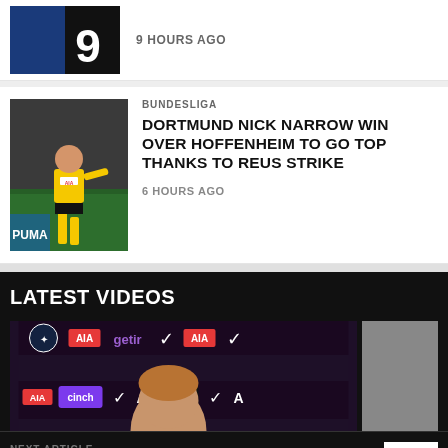[Figure (photo): Partial thumbnail of footballer wearing jersey number 9]
9 HOURS AGO
[Figure (photo): Borussia Dortmund footballer celebrating a goal in yellow kit]
BUNDESLIGA
DORTMUND NICK NARROW WIN OVER HOFFENHEIM TO GO TOP THANKS TO REUS STRIKE
6 HOURS AGO
LATEST VIDEOS
[Figure (photo): Press conference thumbnail with AIA, getir, cinch, Nike, 8PLAY sponsor banners and a person's head visible]
[Figure (photo): Second video thumbnail (grey placeholder)]
NEXT ARTICLE
JUVENTUS SEE OFF FIORENTINA TO SECURE PLACE IN COPPA ITALIA FINAL WITH INTER